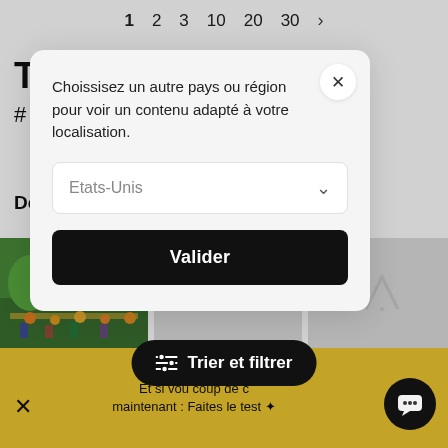1  2  3  10  20  30  >
To
#
[Figure (screenshot): Modal dialog for country/region selection. Contains text 'Choissisez un autre pays ou région pour voir un contenu adapté à votre localisation.', a dropdown showing 'Etats-Unis', and a 'Valider' button. Has a close X button in top right.]
Découvrez nos sélections thématiques
[Figure (photo): Colorful painting/illustration of tropical agricultural scene with people among crops and vegetation]
[Figure (screenshot): Gray placeholder thumbnail with diagonal logo mark]
[Figure (screenshot): Gray placeholder thumbnail with diagonal logo mark]
Et si vou coup de c maintenant : Faites le test
Trier et filtrer